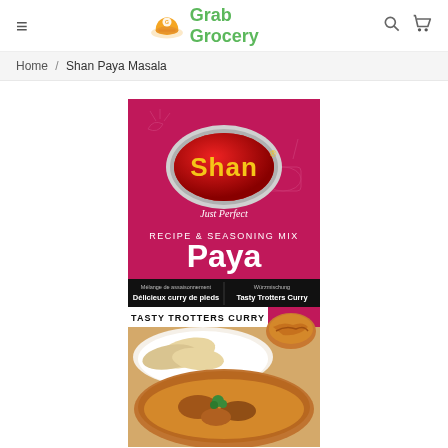≡  Grab Grocery  🔍  🛒
Home / Shan Paya Masala
[Figure (photo): Shan Paya Recipe & Seasoning Mix product box on a grocery website. The box is magenta/pink with a red oval Shan logo, text 'Just Perfect', 'RECIPE & SEASONING MIX', large text 'Paya', a black band with multilingual text and 'TASTY TROTTERS CURRY'. Below the box is a food photo showing trotters curry in a bowl with naan bread and fried onions garnish.]